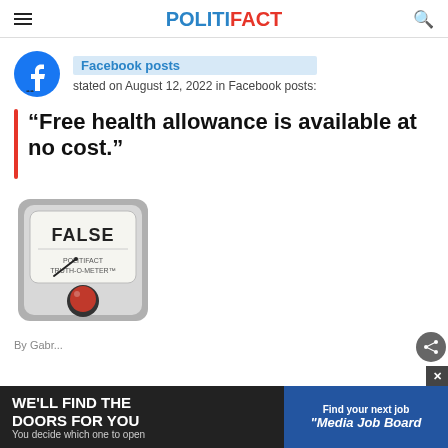POLITIFACT
Facebook posts stated on August 12, 2022 in Facebook posts:
“Free health allowance is available at no cost.”
[Figure (illustration): PolitiFact Truth-O-Meter gauge showing FALSE rating with red indicator light]
By Gabr...
[Figure (infographic): Advertisement banner: WE'LL FIND THE DOORS FOR YOU / You decide which one to open / Find your next job / Media Job Board]